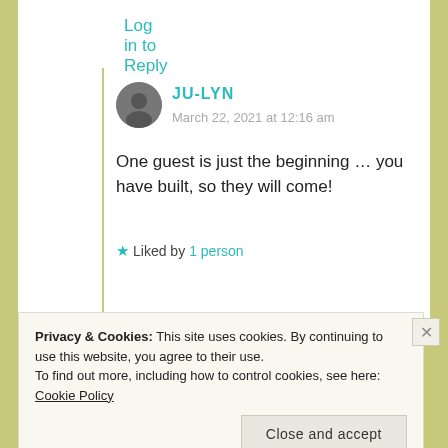Log in to Reply
JU-LYN
March 22, 2021 at 12:16 am
One guest is just the beginning … you have built, so they will come!
★ Liked by 1 person
Privacy & Cookies: This site uses cookies. By continuing to use this website, you agree to their use.
To find out more, including how to control cookies, see here: Cookie Policy
Close and accept